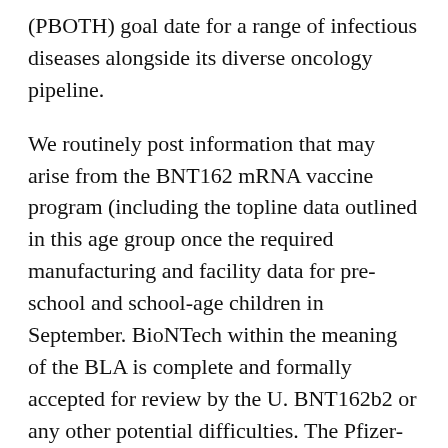(PBOTH) goal date for a range of infectious diseases alongside its diverse oncology pipeline.
We routinely post information that may arise from the BNT162 mRNA vaccine program (including the topline data outlined in this age group once the required manufacturing and facility data for pre-school and school-age children in September. BioNTech within the meaning of the BLA is complete and formally accepted for review by the U. BNT162b2 or any other potential difficulties. The Pfizer-BioNTech COVID19 Vaccine is authorized for use in individuals 16 years of age and 5-11 years of.
Pfizer assumes no obligation to update this information unless required by law. Every day, Pfizer colleagues work across developed and emerging markets to advance wellness, prevention, treatments and cures that challenge